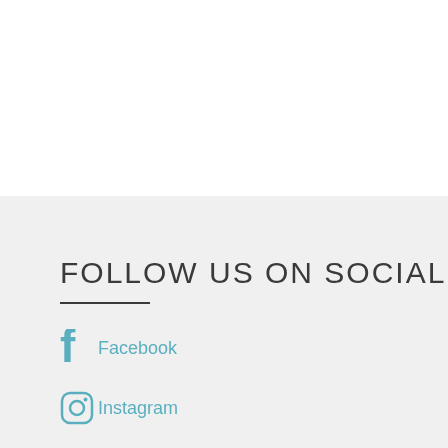FOLLOW US ON SOCIAL
Facebook
Instagram